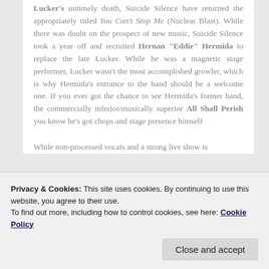Lucker's untimely death, Suicide Silence have returned the appropriately titled You Can't Stop Me (Nuclear Blast). While there was doubt on the prospect of new music, Suicide Silence took a year off and recruited Hernan "Eddie" Hermida to replace the late Lucker. While he was a magnetic stage performer, Lucker wasn't the most accomplished growler, which is why Hermida's entrance to the band should be a welcome one. If you ever got the chance to see Hermida's former band, the commercially inferior/musically superior All Shall Perish you know he's got chops and stage presence himself
While non-processed vocals and a strong live show is
Privacy & Cookies: This site uses cookies. By continuing to use this website, you agree to their use.
To find out more, including how to control cookies, see here: Cookie Policy